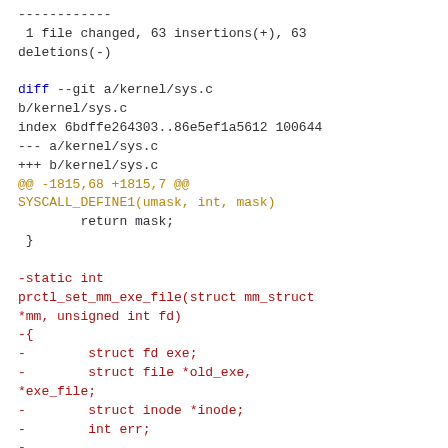------------
 1 file changed, 63 insertions(+), 63 deletions(-)

diff --git a/kernel/sys.c b/kernel/sys.c
index 6bdffe264303..86e5ef1a5612 100644
--- a/kernel/sys.c
+++ b/kernel/sys.c
@@ -1815,68 +1815,7 @@
SYSCALL_DEFINE1(umask, int, mask)
        return mask;
 }

-static int prctl_set_mm_exe_file(struct mm_struct *mm, unsigned int fd)
-{
-        struct fd exe;
-        struct file *old_exe, *exe_file;
-        struct inode *inode;
-        int err;
-
-        exe = fdget(fd);
-        if (!exe.file)
-                return -EBADF;
-
-        inode = file_inode(exe.file);
-